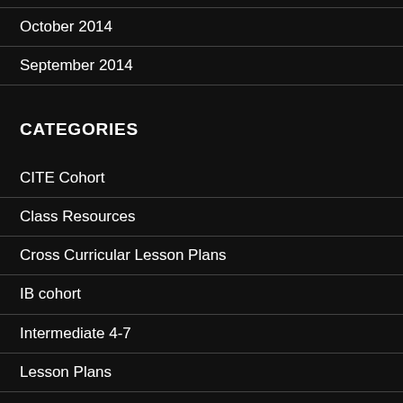October 2014
September 2014
CATEGORIES
CITE Cohort
Class Resources
Cross Curricular Lesson Plans
IB cohort
Intermediate 4-7
Lesson Plans
PE Inquiry Lesson Plans
PE Lesson Pl…